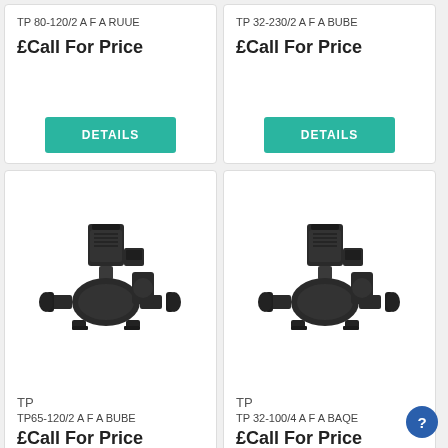TP 80-120/2 A F A RUUE
£Call For Price
DETAILS
TP 32-230/2 A F A BUBE
£Call For Price
DETAILS
[Figure (photo): Industrial inline pump TP, model TP65-120/2 A F A BUBE, dark/black metallic body with motor on top and flanged connections]
TP
TP65-120/2 A F A BUBE
£Call For Price
[Figure (photo): Industrial inline pump TP, model TP 32-100/4 A F A BAQE, dark/black metallic body with motor on top and flanged connections]
TP
TP 32-100/4 A F A BAQE
£Call For Price